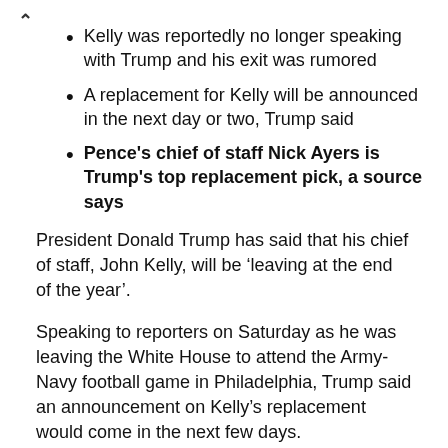Kelly was reportedly no longer speaking with Trump and his exit was rumored
A replacement for Kelly will be announced in the next day or two, Trump said
Pence's chief of staff Nick Ayers is Trump's top replacement pick, a source says
President Donald Trump has said that his chief of staff, John Kelly, will be 'leaving at the end of the year'.
Speaking to reporters on Saturday as he was leaving the White House to attend the Army-Navy football game in Philadelphia, Trump said an announcement on Kelly's replacement would come in the next few days.